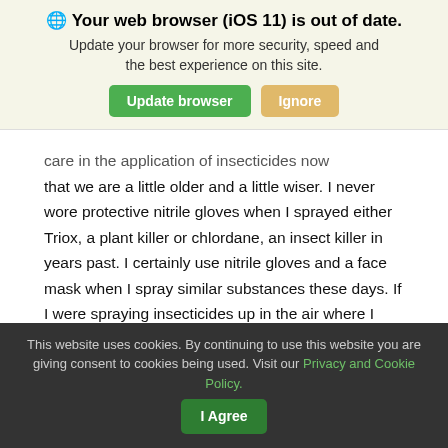🌐 Your web browser (iOS 11) is out of date. Update your browser for more security, speed and the best experience on this site.
care in the application of insecticides now that we are a little older and a little wiser. I never wore protective nitrile gloves when I sprayed either Triox, a plant killer or chlordane, an insect killer in years past. I certainly use nitrile gloves and a face mask when I spray similar substances these days. If I were spraying insecticides up in the air where I could get spray back on my face I would also wear protective goggles too.
This website uses cookies. By continuing to use this website you are giving consent to cookies being used. Visit our Privacy and Cookie Policy.